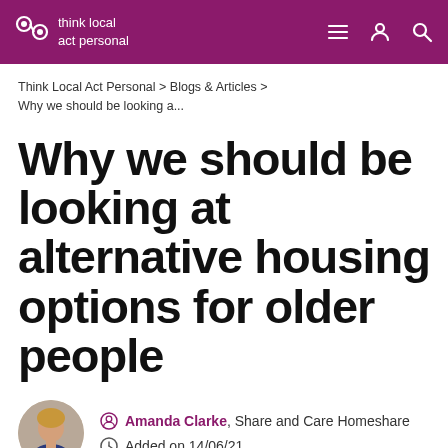think local act personal
Think Local Act Personal > Blogs & Articles > Why we should be looking a...
Why we should be looking at alternative housing options for older people
Amanda Clarke, Share and Care Homeshare
Added on 14/06/21